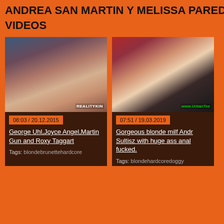ANDREA SAN MARTIN Y MELISSA PAREDE
VIDEOS
[Figure (photo): Video thumbnail showing adult content, with watermark REALITYKI at bottom right. Duration badge: 08:03 / 20.12.2015]
George Uhl,Joyce Angel,Martin Gun and Roxy Taggart
Tags: blondebrunettehardcore
[Figure (photo): Video thumbnail showing adult content, with watermark www.UrbanTee at bottom right. Duration badge: 07:51 / 19.03.2019]
Gorgeous blonde milf Andr Sultisz with huge ass anal fucked.
Tags: blondehardcoredoggy